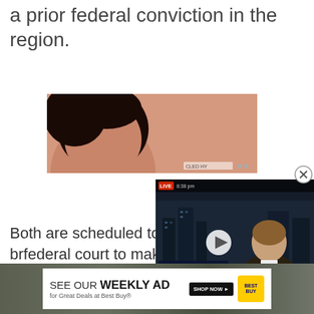a prior federal conviction in the region.
[Figure (photo): Partial view of a person's head with dark hair against a peach/salmon background, appearing to be an advertisement banner. Label reads 'CLEO HY' in the bottom right corner.]
Both are scheduled to be br[ought to] federal court to make an ap[pearance]
[Figure (screenshot): A video player overlay showing a live CNN-style news broadcast. LIVE badge and time '8:38 pm' in top bar. A male news anchor is visible. Lower-third name badge reads 'Fred Neumann - HSBC CHIEF ASIA ECONOMIST AND HEAD OF ASIAN GLOBAL RESEARCH, ASIA PACIFIC'. Ticker at bottom reads 'CHINA PLANS TO DO MORE TO STABILIZE ECONOMY'. A white play button circle is overlaid. A close (X) button appears in top-right corner outside the player.]
[Figure (photo): Best Buy weekly ad banner advertisement. Text reads 'SEE OUR WEEKLY AD for Great Deals at Best Buy®' with a 'SHOP NOW' button and Best Buy logo.]